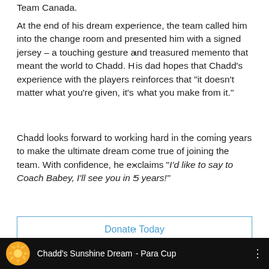Team Canada.
At the end of his dream experience, the team called him into the change room and presented him with a signed jersey – a touching gesture and treasured memento that meant the world to Chadd. His dad hopes that Chadd's experience with the players reinforces that "it doesn't matter what you're given, it's what you make from it."
Chadd looks forward to working hard in the coming years to make the ultimate dream come true of joining the team. With confidence, he exclaims "I'd like to say to Coach Babey, I'll see you in 5 years!"
Donate Today
Read More Dream Stories
[Figure (screenshot): Video bar at bottom showing Chadd's Sunshine Dream - Para Cup with a sun logo on dark background]